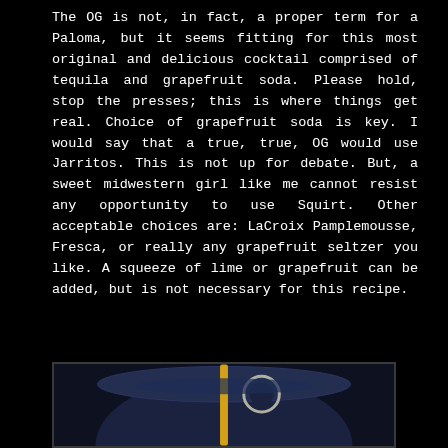The OG is not, in fact, a proper term for a Paloma, but it seems fitting for this most original and delicious cocktail comprised of tequila and grapefruit soda. Please hold, stop the presses; this is where things get real. Choice of grapefruit soda is key. I would say that a true, true, OG would use Jarritos. This is not up for debate. But, a sweet midwestern girl like me cannot resist any opportunity to use Squirt. Other acceptable choices are: LaCroix Pamplemousse, Fresca, or really any grapefruit seltzer you like. A squeeze of lime or grapefruit can be added, but is not necessary for this recipe.
[Figure (photo): Partially visible cocktail in a dark glass or cup with what appears to be a yellow straw and a metallic element, set against a dark navy/black background. Only the top portion of the drink is visible.]